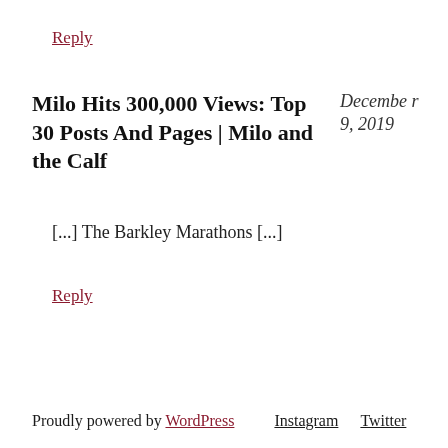Reply
Milo Hits 300,000 Views: Top 30 Posts And Pages | Milo and the Calf
December 9, 2019
[...] The Barkley Marathons [...]
Reply
Proudly powered by WordPress   Instagram   Twitter